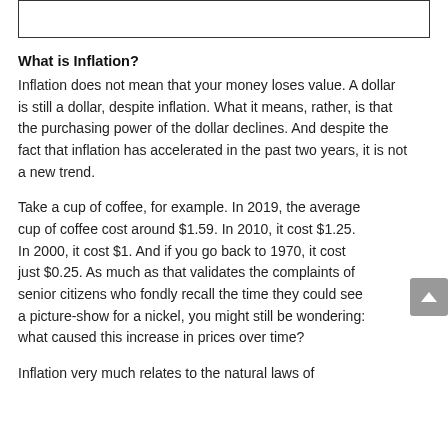[Figure (other): Empty bordered rectangle at top of page]
What is Inflation?
Inflation does not mean that your money loses value. A dollar is still a dollar, despite inflation. What it means, rather, is that the purchasing power of the dollar declines. And despite the fact that inflation has accelerated in the past two years, it is not a new trend.
Take a cup of coffee, for example. In 2019, the average cup of coffee cost around $1.59. In 2010, it cost $1.25. In 2000, it cost $1. And if you go back to 1970, it cost just $0.25. As much as that validates the complaints of senior citizens who fondly recall the time they could see a picture-show for a nickel, you might still be wondering: what caused this increase in prices over time?
Inflation very much relates to the natural laws of